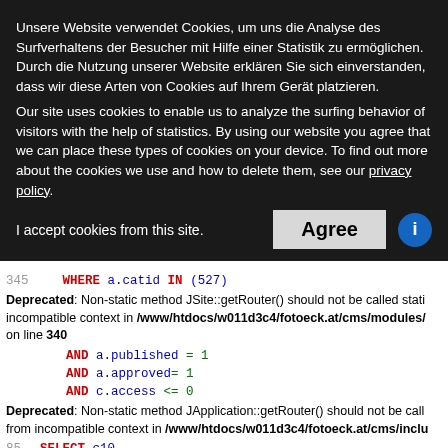Unsere Website verwendet Cookies, um uns die Analyse des Surfverhaltens der Besucher mit Hilfe einer Statistik zu ermöglichen. Durch die Nutzung unserer Website erklären Sie sich einverstanden, dass wir diese Arten von Cookies auf Ihrem Gerät platzieren.
Our site uses cookies to enable us to analyze the surfing behavior of visitors with the help of statistics. By using our website you agree that we can place these types of cookies on your device. To find out more about the cookies we use and how to delete them, see our privacy policy.
I accept cookies from this site.   [Agree]   [i]
Code and error output: SQL query and Deprecated warnings for JSite::getRouter(), JApplication::getRouter(), JRouter::getInstance(), JRoute::_()